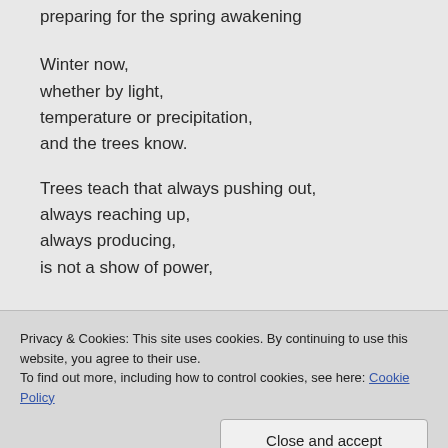preparing for the spring awakening
Winter now,
whether by light,
temperature or precipitation,
and the trees know.
Trees teach that always pushing out,
always reaching up,
always producing,
is not a show of power,
Privacy & Cookies: This site uses cookies. By continuing to use this website, you agree to their use.
To find out more, including how to control cookies, see here: Cookie Policy
Close and accept
in quietude,